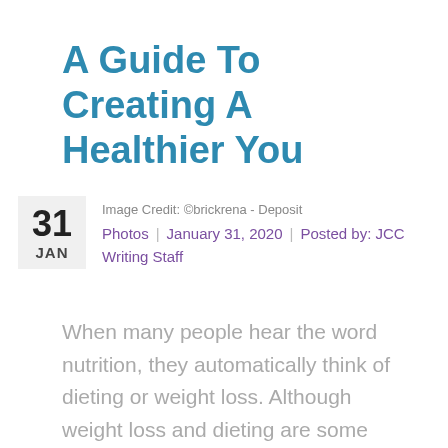A Guide To Creating A Healthier You
Image Credit: ©brickrena - Deposit Photos  |  January 31, 2020  |  Posted by: JCC Writing Staff
When many people hear the word nutrition, they automatically think of dieting or weight loss. Although weight loss and dieting are some specific areas of nutrition, they aren't